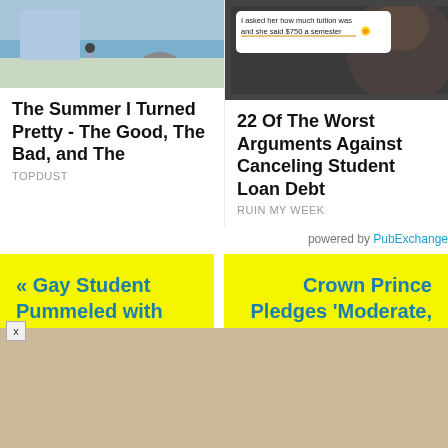[Figure (photo): Thumbnail image showing people riding bikes near a beach/coastal path]
The Summer I Turned Pretty - The Good, The Bad, and The
TOPDUST
[Figure (screenshot): Screenshot of a text message saying 'I asked her how much tuition was and she said $750 a semester' with emoji, overlaid on a dark background with a person's face]
22 Of The Worst Arguments Against Canceling Student Loan Debt
RUIN MY WEEK
powered by PubExchange
« Gay Student Pummeled with Full Juice Boxes, Called
Crown Prince Pledges 'Moderate, Open' Saudi Arabia in Which